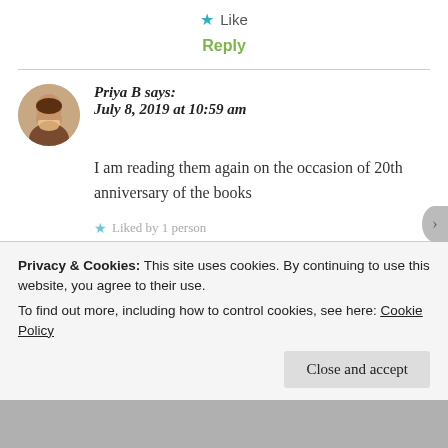★ Like
Reply
Priya B says:
July 8, 2019 at 10:59 am
I am reading them again on the occasion of 20th anniversary of the books
Privacy & Cookies: This site uses cookies. By continuing to use this website, you agree to their use.
To find out more, including how to control cookies, see here: Cookie Policy
Close and accept